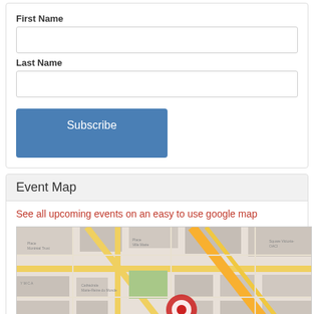First Name
Last Name
Subscribe
Event Map
See all upcoming events on an easy to use google map
[Figure (map): Google map showing Montreal streets with a red location pin marker in the center-bottom area]